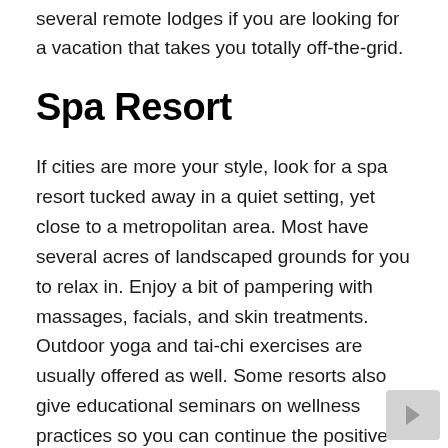several remote lodges if you are looking for a vacation that takes you totally off-the-grid.
Spa Resort
If cities are more your style, look for a spa resort tucked away in a quiet setting, yet close to a metropolitan area. Most have several acres of landscaped grounds for you to relax in. Enjoy a bit of pampering with massages, facials, and skin treatments. Outdoor yoga and tai-chi exercises are usually offered as well. Some resorts also give educational seminars on wellness practices so you can continue the positive vibes at home.
If you're looking for a relaxing vacation option